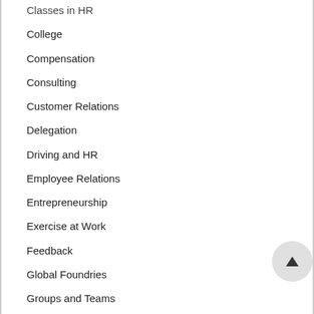Classes in HR
College
Compensation
Consulting
Customer Relations
Delegation
Driving and HR
Employee Relations
Entrepreneurship
Exercise at Work
Feedback
Global Foundries
Groups and Teams
Hospitality
HR in Baseball
Human Resources Training Course
Incentives